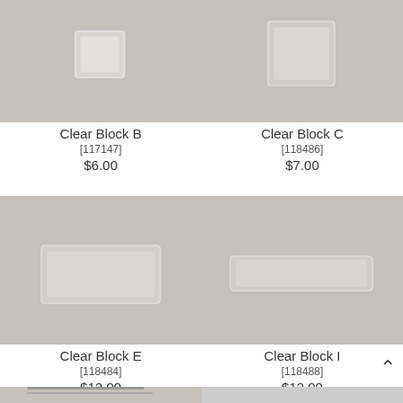[Figure (photo): Clear Block B - small square clear acrylic/glass block on grey background]
Clear Block B
[117147]
$6.00
[Figure (photo): Clear Block C - medium square clear acrylic/glass block on grey background]
Clear Block C
[118486]
$7.00
[Figure (photo): Clear Block E - wide rectangular clear acrylic/glass block on grey background]
Clear Block E
[118484]
$12.00
[Figure (photo): Clear Block I - wide thin rectangular clear acrylic/glass block on grey background]
Clear Block I
[118488]
$12.00
[Figure (photo): Partial view of a paper trimmer/cutter on grey background]
[Figure (photo): Partial view of a white product on grey background]